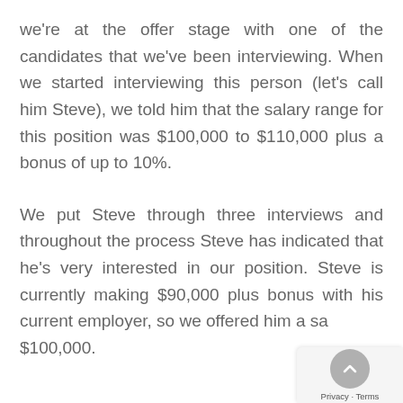we're at the offer stage with one of the candidates that we've been interviewing. When we started interviewing this person (let's call him Steve), we told him that the salary range for this position was $100,000 to $110,000 plus a bonus of up to 10%.
We put Steve through three interviews and throughout the process Steve has indicated that he's very interested in our position. Steve is currently making $90,000 plus bonus with his current employer, so we offered him a salary of $100,000.